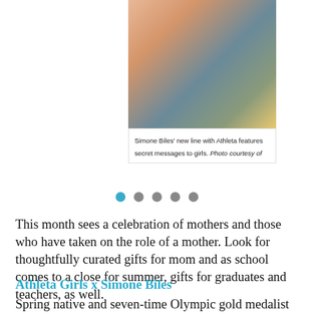[Figure (photo): Group photo of girls wearing colorful athletic wear from Simone Biles' Athleta collection]
Simone Biles’ new line with Athleta features secret messages to girls. Photo courtesy of
[Figure (other): Carousel navigation dots, one active (blue) and four inactive (gray)]
This month sees a celebration of mothers and those who have taken on the role of a mother. Look for thoughtfully curated gifts for mom and as school comes to a close for summer, gifts for graduates and teachers, as well.
Athleta Girls x Simone Biles
Spring native and seven-time Olympic gold medalist has launched her first collection with Athleta. The stylish athleisure wear aimed at girls aged 6 to 12 includes tees, hooded sweatshirts, reversible vests, biker shorts, capri